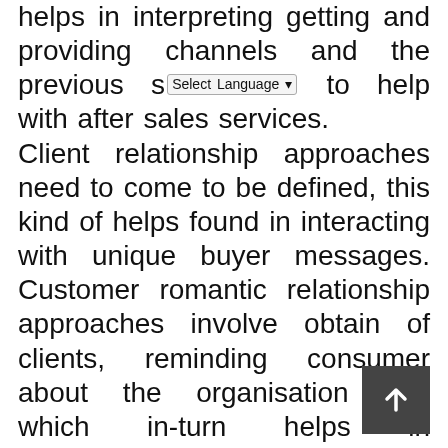helps in interpreting getting and providing channels and the previous s[Select Language] to help with after sales services. Client relationship approaches need to come to be defined, this kind of helps found in interacting with unique buyer messages. Customer romantic relationship approaches involve obtain of clients, reminding consumer about the organisation and which in-turn helps in maximizing product sales belonging to the merchandise or program. Fostering a romantic relationship with a client is a must; this can motivate customers to obtain goods. Several company’s worth proposal can be to maintain and create a good partnership with customer; here the client contact team could speak to customers or clients after shopping for a services or products. Infrastructure and assets and required to run